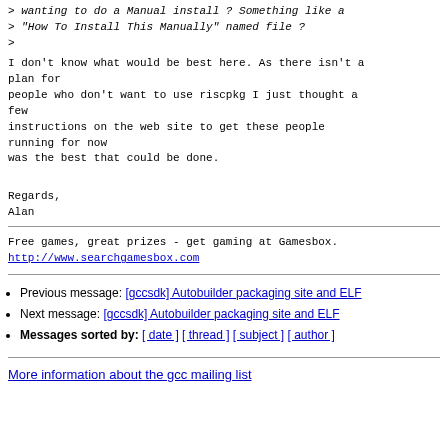> wanting to do a Manual install ? Something like a
> "How To Install This Manually" named file ?
>
I don't know what would be best here. As there isn't a plan for
people who don't want to use riscpkg I just thought a few
instructions on the web site to get these people running for now
was the best that could be done.
Regards,
Alan
Free games, great prizes - get gaming at Gamesbox.
http://www.searchgamesbox.com
Previous message: [gccsdk] Autobuilder packaging site and ELF
Next message: [gccsdk] Autobuilder packaging site and ELF
Messages sorted by: [ date ] [ thread ] [ subject ] [ author ]
More information about the gcc mailing list